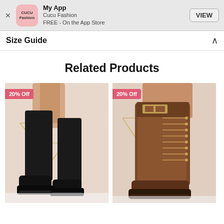[Figure (screenshot): App install banner for Cucu Fashion app showing logo, app name 'My App', subtitle 'Cucu Fashion', 'FREE - On the App Store', and a VIEW button]
Size Guide
Related Products
[Figure (photo): Black knee-high chunky platform boots on a model's legs, with a '20% Off' badge in the top left corner]
[Figure (photo): Brown lace-up knee-high boots with buckle detail on a model's legs, with a '20% Off' badge in the top left corner]